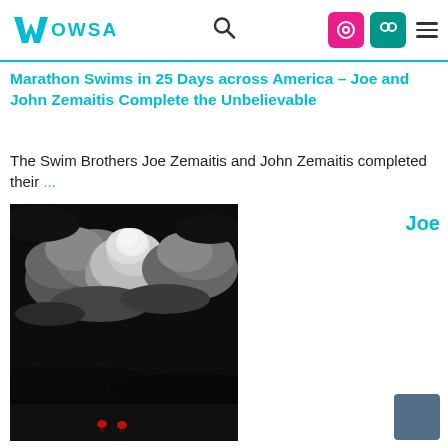WOWSA
Marathon Swims in 25 Days across America – Joe and John Zemaitis Complete the Unbelievable
The Swim Brothers Joe Zemaitis and John Zemaitis completed their ...
[Figure (photo): Night photograph showing a dark sky with dramatic clouds lit by moonlight, silhouetted treeline/hills, and two red lights visible on a dark body of water in the foreground.]
Joe